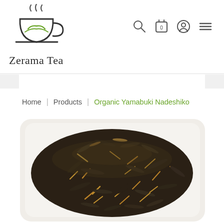[Figure (logo): Zerama Tea logo: steaming tea cup with green leaf design]
Zerama Tea
[Figure (other): Navigation icons: search, cart (0), user account, hamburger menu]
Home | Products | Organic Yamabuki Nadeshiko
[Figure (photo): Photo of loose leaf dark tea leaves on a white rectangular plate with a USDA Organic certification badge in the upper left]